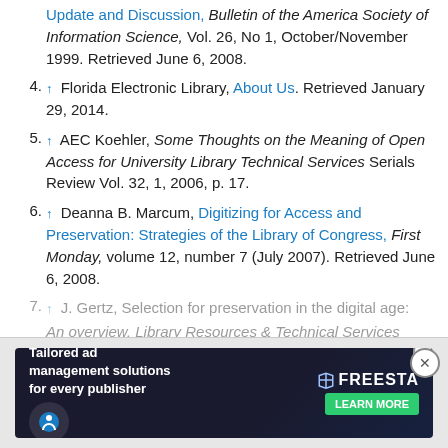Update and Discussion, Bulletin of the America Society of Information Science, Vol. 26, No 1, October/November 1999. Retrieved June 6, 2008.
4. ↑ Florida Electronic Library, About Us. Retrieved January 29, 2014.
5. ↑ AEC Koehler, Some Thoughts on the Meaning of Open Access for University Library Technical Services Serials Review Vol. 32, 1, 2006, p. 17.
6. ↑ Deanna B. Marcum, Digitizing for Access and Preservation: Strategies of the Library of Congress, First Monday, volume 12, number 7 (July 2007). Retrieved June 6, 2008.
7. ↑ J. Gertz, Selection for preservation in the digital age: An overview, Library Resources & Technical Services 44...
8. ↑ P... ...sion in academic libraries, College & Research Libraries
[Figure (screenshot): Advertisement overlay: Tailored ad management solutions for every publisher. Freesta brand with Learn More button. Close button visible.]